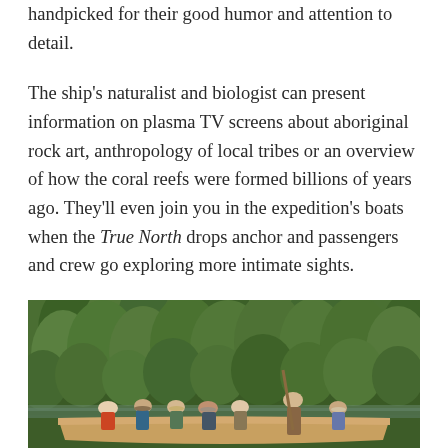handpicked for their good humor and attention to detail.
The ship's naturalist and biologist can present information on plasma TV screens about aboriginal rock art, anthropology of local tribes or an overview of how the coral reefs were formed billions of years ago. They'll even join you in the expedition's boats when the True North drops anchor and passengers and crew go exploring more intimate sights.
[Figure (photo): People in an expedition boat on a river surrounded by dense tropical green mangrove or jungle vegetation. Several passengers and crew members are visible sitting in the boat.]